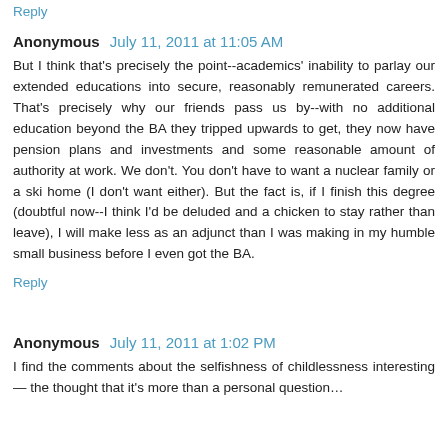Reply
Anonymous  July 11, 2011 at 11:05 AM
But I think that's precisely the point--academics' inability to parlay our extended educations into secure, reasonably remunerated careers. That's precisely why our friends pass us by--with no additional education beyond the BA they tripped upwards to get, they now have pension plans and investments and some reasonable amount of authority at work. We don't. You don't have to want a nuclear family or a ski home (I don't want either). But the fact is, if I finish this degree (doubtful now--I think I'd be deluded and a chicken to stay rather than leave), I will make less as an adjunct than I was making in my humble small business before I even got the BA.
Reply
Anonymous  July 11, 2011 at 1:02 PM
I find the comments about the selfishness of childlessness interesting — the thought that it's more than a personal question…